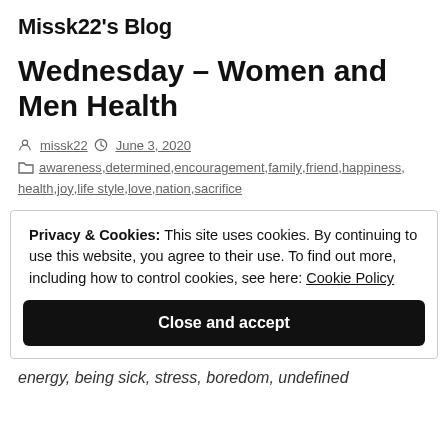Missk22's Blog
Wednesday – Women and Men Health
missk22   June 3, 2020
awareness, determined, encouragement, family, friend, happiness, health, joy, life style, love, nation, sacrifice
Privacy & Cookies: This site uses cookies. By continuing to use this website, you agree to their use. To find out more, including how to control cookies, see here: Cookie Policy
Close and accept
energy, being sick, stress, boredom, undefined